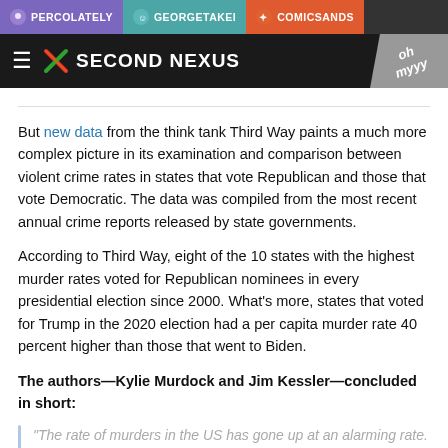PERCOLATELY | GEORGETAKEI | COMICSANDS
SECOND NEXUS | ohmyyy
But new data from the think tank Third Way paints a much more complex picture in its examination and comparison between violent crime rates in states that vote Republican and those that vote Democratic. The data was compiled from the most recent annual crime reports released by state governments.
According to Third Way, eight of the 10 states with the highest murder rates voted for Republican nominees in every presidential election since 2000. What's more, states that voted for Trump in the 2020 election had a per capita murder rate 40 percent higher than those that went to Biden.
The authors—Kylie Murdock and Jim Kessler—concluded in short:
“The rate of murders in the US has gone up at an alarming rate. But, despite a media narrative to